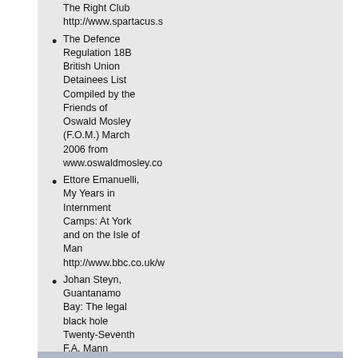The Right Club http://www.spartacus.s
The Defence Regulation 18B British Union Detainees List Compiled by the Friends of Oswald Mosley (F.O.M.) March 2006 from www.oswaldmosley.co
Ettore Emanuelli, My Years in Internment Camps: At York and on the Isle of Man http://www.bbc.co.uk/w
Johan Steyn, Guantanamo Bay: The legal black hole Twenty-Seventh F.A. Mann Lecture: 25 November 2003 http://www.statewatch.
British War Economy/Chapter III http://yourarchives.nati title=British_War_Econ
2 March 2007 releases: Miscellaneous policy files http://www.mi5.gov.uk/